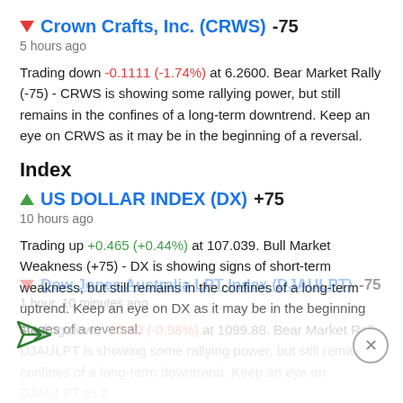Crown Crafts, Inc. (CRWS) -75
5 hours ago
Trading down -0.1111 (-1.74%) at 6.2600. Bear Market Rally (-75) - CRWS is showing some rallying power, but still remains in the confines of a long-term downtrend. Keep an eye on CRWS as it may be in the beginning of a reversal.
Index
US DOLLAR INDEX (DX) +75
10 hours ago
Trading up +0.465 (+0.44%) at 107.039. Bull Market Weakness (+75) - DX is showing signs of short-term weakness, but still remains in the confines of a long-term uptrend. Keep an eye on DX as it may be in the beginning stages of a reversal.
Dow Jones Australia LPT Index (DJAULPT) -75
1 hour, 10 minutes ago
Trading down -10.90 (-0.98%) at 1099.88. Bear Market Rally - DJAULPT is showing some rallying power, but still remains confines of a long-term downtrend. Keep an eye on DJAULPT as it